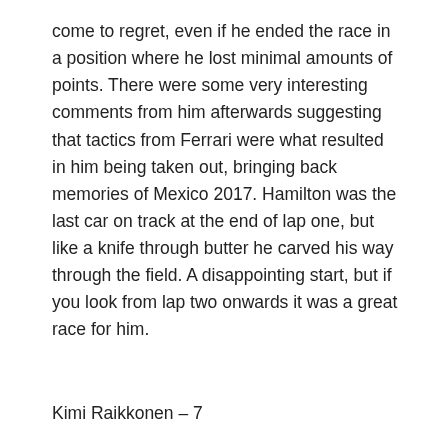come to regret, even if he ended the race in a position where he lost minimal amounts of points. There were some very interesting comments from him afterwards suggesting that tactics from Ferrari were what resulted in him being taken out, bringing back memories of Mexico 2017. Hamilton was the last car on track at the end of lap one, but like a knife through butter he carved his way through the field. A disappointing start, but if you look from lap two onwards it was a great race for him.
Kimi Raikkonen – 7
Raikkonen has finished on the podium at